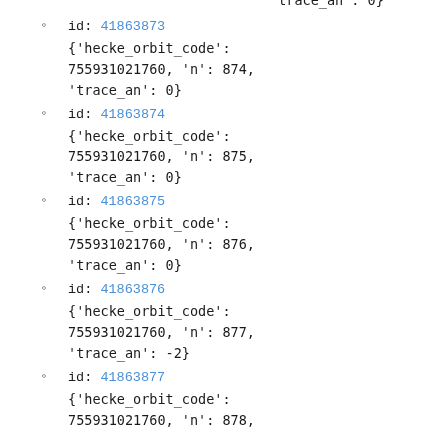'trace_an': 0}
id: 41863873
{'hecke_orbit_code': 755931021760, 'n': 874, 'trace_an': 0}
id: 41863874
{'hecke_orbit_code': 755931021760, 'n': 875, 'trace_an': 0}
id: 41863875
{'hecke_orbit_code': 755931021760, 'n': 876, 'trace_an': 0}
id: 41863876
{'hecke_orbit_code': 755931021760, 'n': 877, 'trace_an': -2}
id: 41863877
{'hecke_orbit_code': 755931021760, 'n': 878,